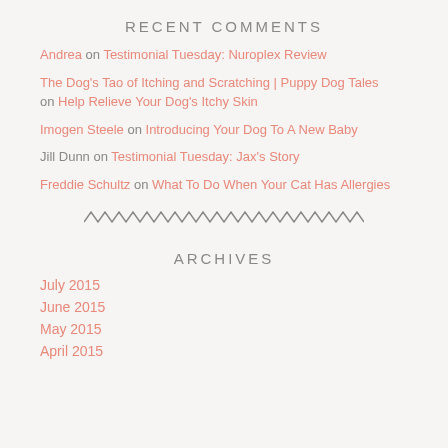RECENT COMMENTS
Andrea on Testimonial Tuesday: Nuroplex Review
The Dog's Tao of Itching and Scratching | Puppy Dog Tales on Help Relieve Your Dog's Itchy Skin
Imogen Steele on Introducing Your Dog To A New Baby
Jill Dunn on Testimonial Tuesday: Jax's Story
Freddie Schultz on What To Do When Your Cat Has Allergies
[Figure (illustration): Decorative zigzag/wavy divider line]
ARCHIVES
July 2015
June 2015
May 2015
April 2015